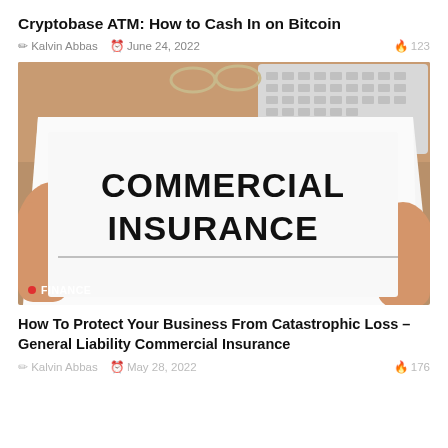Cryptobase ATM: How to Cash In on Bitcoin
✎ Kalvin Abbas  ⊙ June 24, 2022  🔥 123
[Figure (photo): Hands holding a document with 'COMMERCIAL INSURANCE' printed in large bold black text, with a pen signing it. Keyboard and glasses visible in background on wooden desk.]
● FINANCE
How To Protect Your Business From Catastrophic Loss – General Liability Commercial Insurance
✎ Kalvin Abbas  ⊙ May 28, 2022  🔥 176